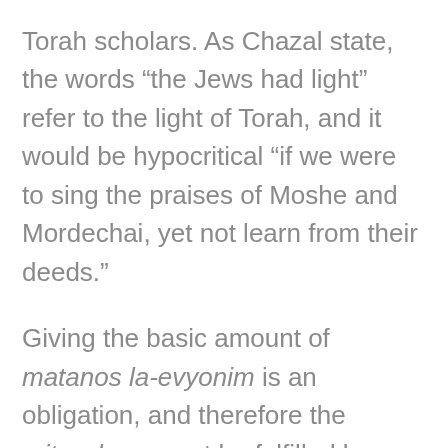Torah scholars. As Chazal state, the words “the Jews had light” refer to the light of Torah, and it would be hypocritical “if we were to sing the praises of Moshe and Mordechai, yet not learn from their deeds.”
Giving the basic amount of matanos la-evyonim is an obligation, and therefore the mitzvah may not be fulfilled by donating maaser money. However, money that is given beyond the basic obligation may be donated out of maaser money (Magen